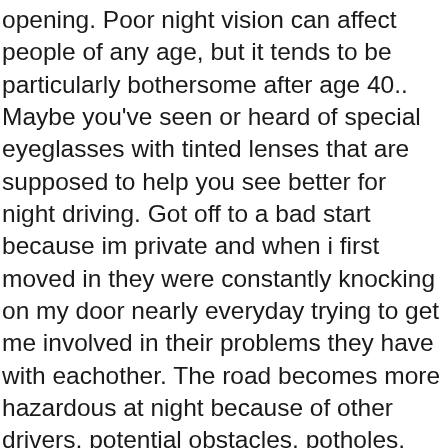opening. Poor night vision can affect people of any age, but it tends to be particularly bothersome after age 40.. Maybe you've seen or heard of special eyeglasses with tinted lenses that are supposed to help you see better for night driving. Got off to a bad start because im private and when i first moved in they were constantly knocking on my door nearly everyday trying to get me involved in their problems they have with eachother. The road becomes more hazardous at night because of other drivers, potential obstacles, potholes, and other things that are less visible in the dark. Press question mark to learn the rest of the keyboard shortcuts. I see them, and I think they see me. It's crazy how our minds play tricks on us. But just like at the beginning of my encounter with this creature, I wasn't filled with the feeling of nothing. Sometimes I'll slam my brakes to avoid hitting them, and other times I'll just continue driving like nothing happened. I know they'll mess something up with the popcorn machine if they touch it, so there's no reason to even give them the chance to break it. So what happens is people climb into their cars at 8 p.m., they're driving… Sounds like they're punishing you for